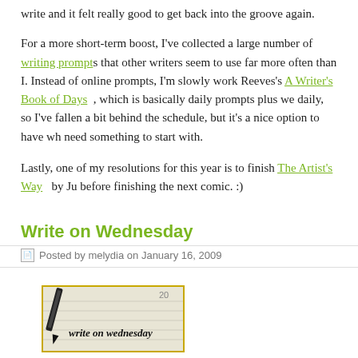write and it felt really good to get back into the groove again.
For a more short-term boost, I've collected a large number of writing prompts that other writers seem to use far more often than I. Instead of online prompts, I'm slowly working through Judy Reeves's A Writer's Book of Days, which is basically daily prompts plus weekly prompts. I try daily, so I've fallen a bit behind the schedule, but it's a nice option to have when you need something to start with.
Lastly, one of my resolutions for this year is to finish The Artist's Way by Julia Cameron before finishing the next comic. :)
Write on Wednesday
Posted by melydia on January 16, 2009
[Figure (illustration): Write on Wednesday banner image showing a pen on a notebook with cursive text 'write on wednesday']
This week's Write on Wednesday is a short survey. I know I've been horrible about doing Write on Wednesday, but ehh, whatever.
1. What's your favourite genre of writing? — Humorous fiction, often with